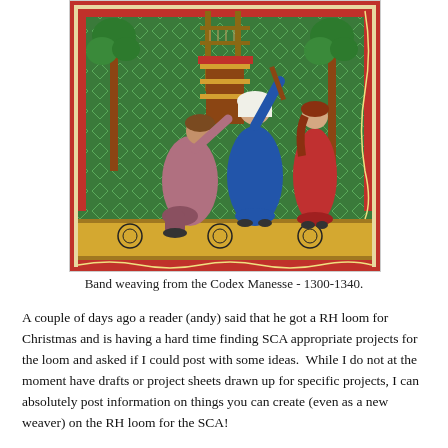[Figure (illustration): Medieval illuminated manuscript illustration from the Codex Manesse showing band weaving scene: a woman in blue dress holds a weaving implement above a kneeling man in rose garment; a second woman in red sits to the right; trees and decorative border surround the scene.]
Band weaving from the Codex Manesse - 1300-1340.
A couple of days ago a reader (andy) said that he got a RH loom for Christmas and is having a hard time finding SCA appropriate projects for the loom and asked if I could post with some ideas.  While I do not at the moment have drafts or project sheets drawn up for specific projects, I can absolutely post information on things you can create (even as a new weaver) on the RH loom for the SCA!
Rigid Heddle weaving in period was used to make narrow bands (and